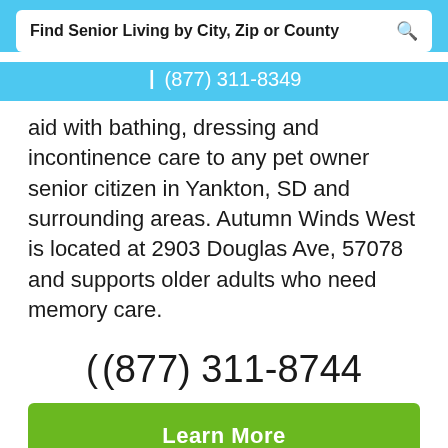Find Senior Living by City, Zip or County
☎ (877) 311-8349
aid with bathing, dressing and incontinence care to any pet owner senior citizen in Yankton, SD and surrounding areas. Autumn Winds West is located at 2903 Douglas Ave, 57078 and supports older adults who need memory care.
( (877) 311-8744
Learn More
View Pricing & Availability